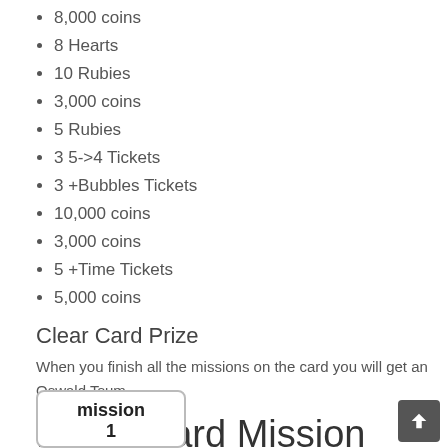8,000 coins
8 Hearts
10 Rubies
3,000 coins
5 Rubies
3 5->4 Tickets
3 +Bubbles Tickets
10,000 coins
3,000 coins
5 +Time Tickets
5,000 coins
Clear Card Prize
When you finish all the missions on the card you will get an Oswald Tsum.
Bingo Card Mission List
mission 1